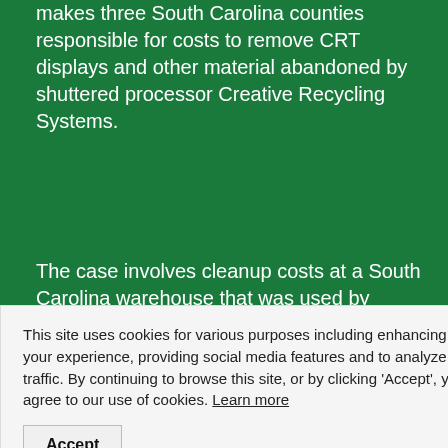makes three South Carolina counties responsible for costs to remove CRT displays and other material abandoned by shuttered processor Creative Recycling Systems.
The case involves cleanup costs at a South Carolina warehouse that was used by Creative Recycling Systems (CRS). The company filed for bankruptcy in 2014, leaving 32 million pounds of CRT glass and other scrap electronic materials in storage across six
This site uses cookies for various purposes including enhancing your experience, providing social media features and to analyze traffic. By continuing to browse this site, or by clicking 'Accept', you agree to our use of cookies. Learn more
Source: https://resource-recycling.com/e-scrap/2018/08/30/counties-and-landlord-battle-over-e-scrap-liability/
Then there is the case of the now defunct Closed Loop